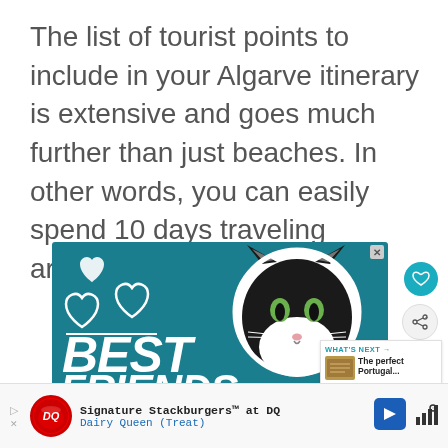The list of tourist points to include in your Algarve itinerary is extensive and goes much further than just beaches. In other words, you can easily spend 10 days traveling around if you have the time.
[Figure (illustration): Advertisement banner with teal background showing a black and white cat face with white hearts and the text 'BEST FRIENDS' in large white italic bold letters, with a close X button and a side panel showing heart and share icons plus a 'What's Next' box for 'The perfect Portugal...' article]
[Figure (illustration): Bottom advertisement bar for Dairy Queen showing DQ logo in red and white with 'Signature Stackburgers™ at DQ' and 'Dairy Queen (Treat)' text in blue, with navigation arrows and blue direction arrow icon]